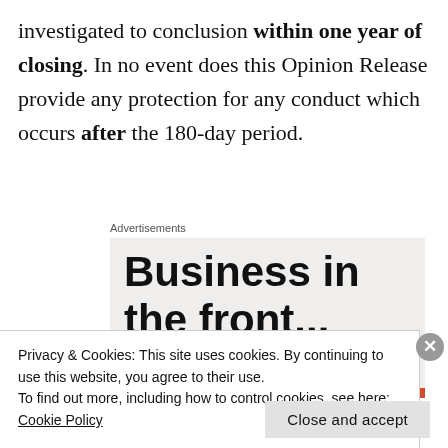investigated to conclusion within one year of closing. In no event does this Opinion Release provide any protection for any conduct which occurs after the 180-day period.
Advertisements
[Figure (other): Advertisement box with bold text reading 'Business in the front...' on a light beige background with a red bar at the bottom]
Privacy & Cookies: This site uses cookies. By continuing to use this website, you agree to their use.
To find out more, including how to control cookies, see here: Cookie Policy
Close and accept